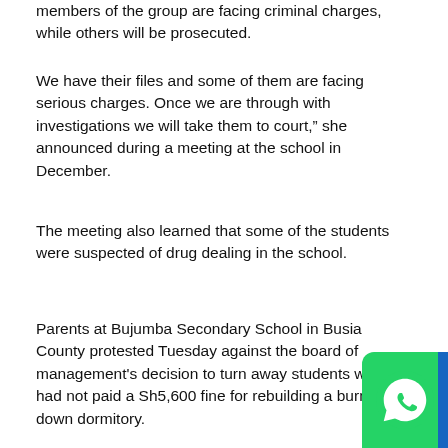members of the group are facing criminal charges, while others will be prosecuted.
We have their files and some of them are facing serious charges. Once we are through with investigations we will take them to court," she announced during a meeting at the school in December.
The meeting also learned that some of the students were suspected of drug dealing in the school.
Parents at Bujumba Secondary School in Busia County protested Tuesday against the board of management's decision to turn away students who had not paid a Sh5,600 fine for rebuilding a burned-down dormitory.
[Figure (logo): WhatsApp messenger icon button (green rounded square with white phone/chat icon)]